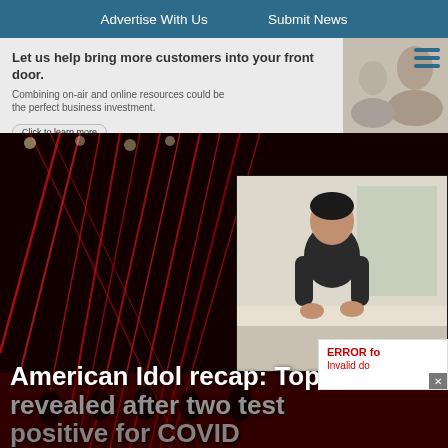Advertise With Us   Submit News
[Figure (photo): Advertisement banner: 'Let us help bring more customers into your front door. Combining on-air and online resources could be the perfect business investment.' with a Click to learn more button and a photo of people.]
[Figure (photo): American Idol stage with red laser lights and an inset video call showing a contestant in a black t-shirt, with another contestant in a plaid shirt visible at the right edge. Credit: ABC/Raymond Liu]
American Idol recap: Top 5 revealed after two test positive for COVID